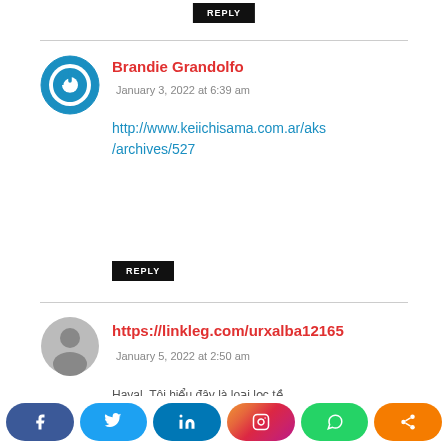[Figure (other): REPLY button at top, black background white text]
[Figure (other): Blue power-button circle avatar icon for Brandie Grandolfo]
Brandie Grandolfo
January 3, 2022 at 6:39 am
http://www.keiichisama.com.ar/aks/archives/527
[Figure (other): REPLY button, black background white text]
[Figure (other): Gray default user avatar icon]
https://linkleg.com/urxalba12165
January 5, 2022 at 2:50 am
Hayal. Tôi hiểu đây là loại lọc tề...
[Figure (other): Social share bar: Facebook, Twitter, LinkedIn, Instagram, WhatsApp, Share buttons]